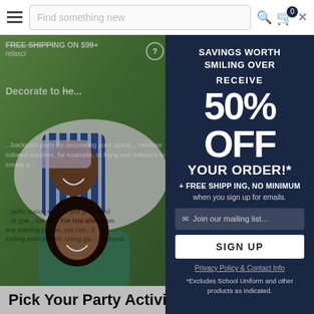Find something new
[Figure (photo): Two people (man and woman) lying on grass smiling, man in blue and white striped shirt, woman with curly hair]
FREE SHIPPING ON $99+ ... relaxci...
Decorate to the...
...backyard party by decorating your space...rainbow colored supplies, for example, or hang...use balloons to create a...
...selfie station set ups and props to take photos with. For late afternoon any evening parties, use can...inviting environment. Using gla...backyard...
[Figure (screenshot): Modal popup overlay with dark navy background promoting 50% off savings offer]
SAVINGS WORTH SMILING OVER
RECEIVE
50% OFF YOUR ORDER!*
+ FREE SHIPPING, NO MINIMUM
when you sign up for emails.
Join our mailing list...
SIGN UP
Privacy Policy & Contact Info
*Excludes School Uniform and other products as indicated.
Pick Your Party Activities